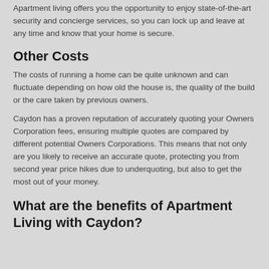Apartment living offers you the opportunity to enjoy state-of-the-art security and concierge services, so you can lock up and leave at any time and know that your home is secure.
Other Costs
The costs of running a home can be quite unknown and can fluctuate depending on how old the house is, the quality of the build or the care taken by previous owners.
Caydon has a proven reputation of accurately quoting your Owners Corporation fees, ensuring multiple quotes are compared by different potential Owners Corporations. This means that not only are you likely to receive an accurate quote, protecting you from second year price hikes due to underquoting, but also to get the most out of your money.
What are the benefits of Apartment Living with Caydon?